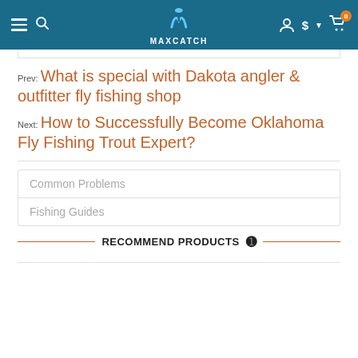MAXCATCH navigation bar with hamburger menu, search, logo, account, currency, and cart icons
Prev: What is special with Dakota angler & outfitter fly fishing shop
Next: How to Successfully Become Oklahoma Fly Fishing Trout Expert?
Common Problems
Fishing Guides
RECOMMEND PRODUCTS